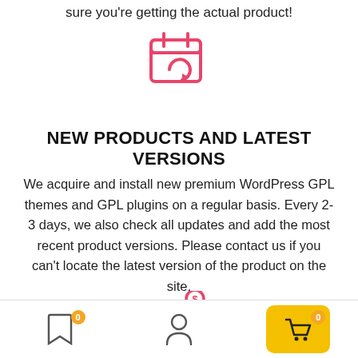sure you're getting the actual product!
[Figure (illustration): Pink/red calendar icon with a refresh/sync circular arrow symbol]
NEW PRODUCTS AND LATEST VERSIONS
We acquire and install new premium WordPress GPL themes and GPL plugins on a regular basis. Every 2-3 days, we also check all updates and add the most recent product versions. Please contact us if you can't locate the latest version of the product on the site.
[Figure (illustration): Pink piggy bank icon with a coin above it]
Navigation bar with bookmark (badge 0), user/person icon, and cart button (badge 0)